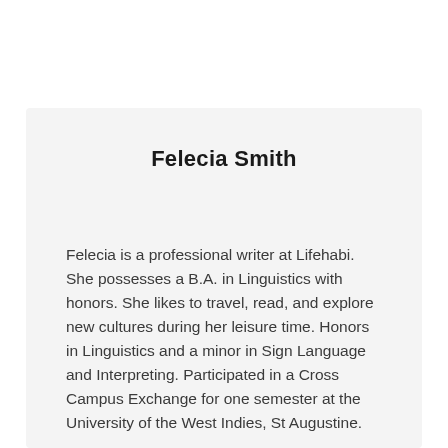Felecia Smith
Felecia is a professional writer at Lifehabi. She possesses a B.A. in Linguistics with honors. She likes to travel, read, and explore new cultures during her leisure time. Honors in Linguistics and a minor in Sign Language and Interpreting. Participated in a Cross Campus Exchange for one semester at the University of the West Indies, St Augustine.